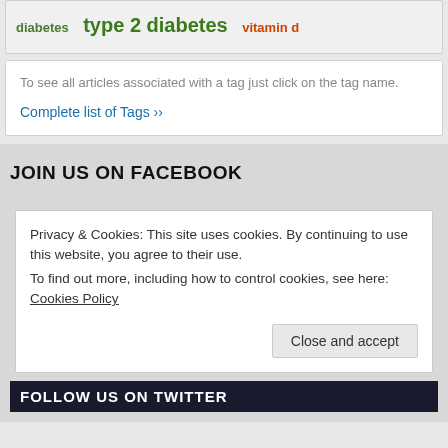diabetes   type 2 diabetes   vitamin d
To see all articles associated with a tag just click on the tag name.
Complete list of Tags »
JOIN US ON FACEBOOK
Privacy & Cookies: This site uses cookies. By continuing to use this website, you agree to their use.
To find out more, including how to control cookies, see here: Cookies Policy
Close and accept
FOLLOW US ON TWITTER